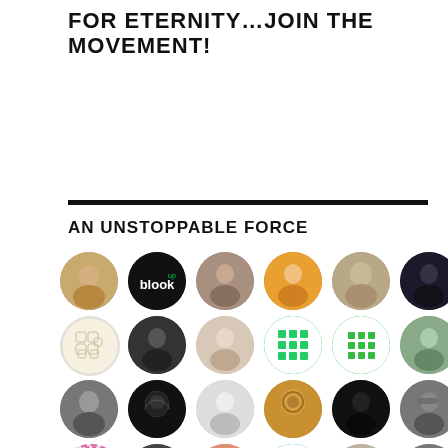FOR ETERNITY...JOIN THE MOVEMENT!
AN UNSTOPPABLE FORCE
[Figure (illustration): Grid of circular profile avatars showing various people, logos, and icons representing community members.]